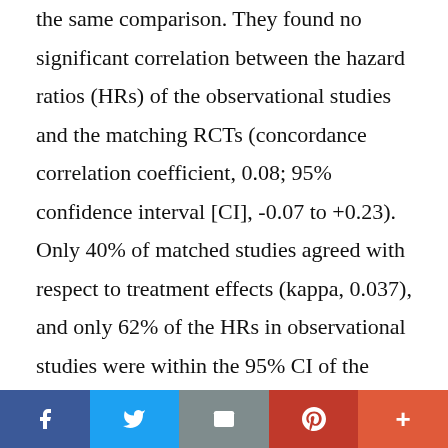the same comparison. They found no significant correlation between the hazard ratios (HRs) of the observational studies and the matching RCTs (concordance correlation coefficient, 0.08; 95% confidence interval [CI], -0.07 to +0.23). Only 40% of matched studies agreed with respect to treatment effects (kappa, 0.037), and only 62% of the HRs in observational studies were within the 95% CI of the matched randomized trial. None of these correlations exceeded what would be expected by chance, and correlations did not
f  🐦  ✉  P  +